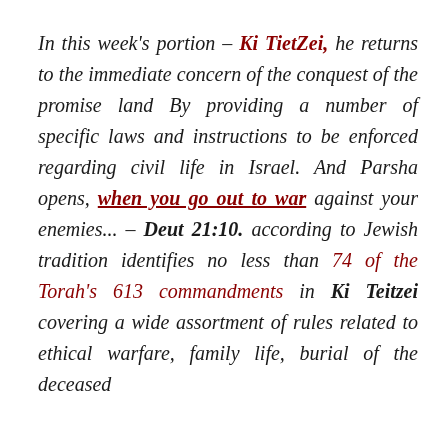In this week's portion – Ki TietZei, he returns to the immediate concern of the conquest of the promise land By providing a number of specific laws and instructions to be enforced regarding civil life in Israel. And Parsha opens, when you go out to war against your enemies... – Deut 21:10. according to Jewish tradition identifies no less than 74 of the Torah's 613 commandments in Ki Teitzei covering a wide assortment of rules related to ethical warfare, family life, burial of the deceased